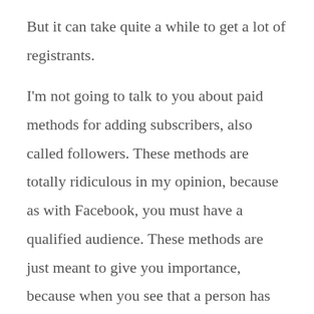But it can take quite a while to get a lot of registrants.

I'm not going to talk to you about paid methods for adding subscribers, also called followers. These methods are totally ridiculous in my opinion, because as with Facebook, you must have a qualified audience. These methods are just meant to give you importance, because when you see that a person has 000l followers you tell yourself that th